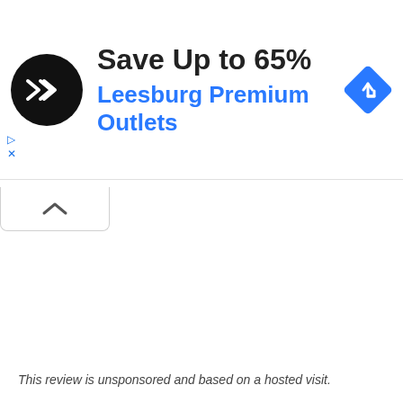[Figure (screenshot): Advertisement banner for Leesburg Premium Outlets showing a circular black logo with double arrow symbol, text 'Save Up to 65%' in bold dark, 'Leesburg Premium Outlets' in blue, and a blue diamond navigation icon on the right. Small blue play and X ad controls on the left edge.]
[Figure (screenshot): A collapsed/minimized tab UI element with an upward caret chevron icon, indicating a collapsible panel below the ad banner.]
This review is unsponsored and based on a hosted visit.